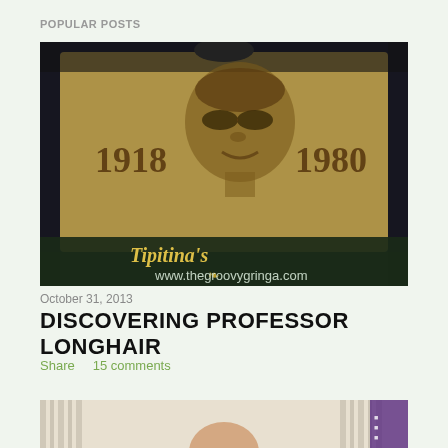POPULAR POSTS
[Figure (photo): A vintage-style illustration/sign showing a portrait of Professor Longhair (a musician) with sunglasses and the years '1918' and '1980' on either side. The Tipitina's logo is overlaid at the bottom along with the watermark 'www.thegroovygringa.com'.]
October 31, 2013
DISCOVERING PROFESSOR LONGHAIR
Share    15 comments
[Figure (photo): A partially visible photo at the bottom of the page showing a person in an indoor setting with curtains and a purple banner visible.]